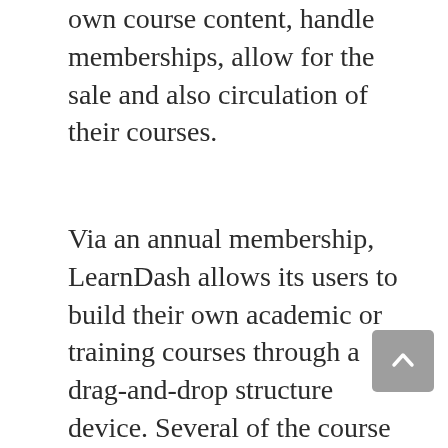own course content, handle memberships, allow for the sale and also circulation of their courses.
Via an annual membership, LearnDash allows its users to build their own academic or training courses through a drag-and-drop structure device. Several of the course functions consist of different checklists of lessons as well as topics, videos, tests, jobs, prerequisites, and also course forums.
It likewise allows customers to monetize the courses they construct by allowing creating subscription sites, billing a membership fee, or perhaps producing